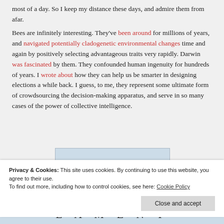most of a day. So I keep my distance these days, and admire them from afar.
Bees are infinitely interesting. They've been around for millions of years, and navigated potentially cladogenetic environmental changes time and again by positively selecting advantageous traits very rapidly. Darwin was fascinated by them. They confounded human ingenuity for hundreds of years. I wrote about how they can help us be smarter in designing elections a while back. I guess, to me, they represent some ultimate form of crowdsourcing the decision-making apparatus, and serve in so many cases of the power of collective intelligence.
[Figure (screenshot): Partial image preview with light blue background, small text label visible]
Privacy & Cookies: This site uses cookies. By continuing to use this website, you agree to their use.
To find out more, including how to control cookies, see here: Cookie Policy
Close and accept
[Figure (screenshot): Bottom strip showing partial book cover or image with text LAMENT in large spaced letters on light blue background]